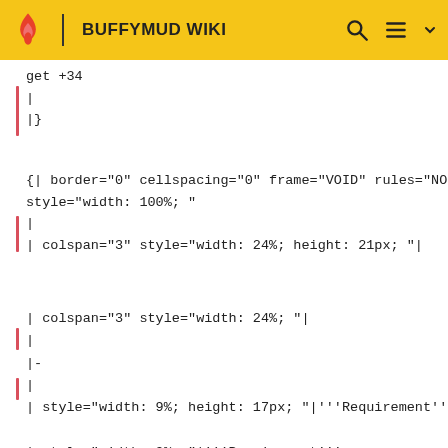BUFFYMUD WIKI
get +34
|
|}
{| border="0" cellspacing="0" frame="VOID" rules="NONE"
style="width: 100%; "
|
| colspan="3" style="width: 24%; height: 21px; "|
| colspan="3" style="width: 24%; "|
|
|-
|
| style="width: 9%; height: 17px; "|\'\''Requirement\'\'
| style="width: 9%; "|\'\''Requirement\'\''